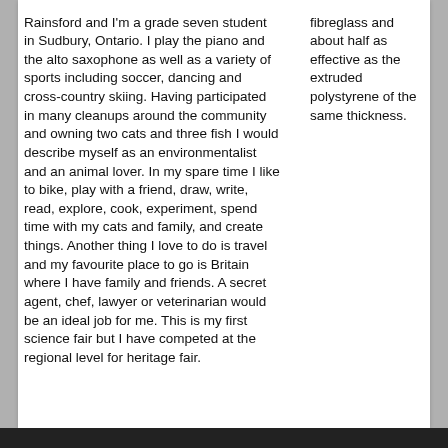Rainsford and I'm a grade seven student in Sudbury, Ontario. I play the piano and the alto saxophone as well as a variety of sports including soccer, dancing and cross-country skiing. Having participated in many cleanups around the community and owning two cats and three fish I would describe myself as an environmentalist and an animal lover. In my spare time I like to bike, play with a friend, draw, write, read, explore, cook, experiment, spend time with my cats and family, and create things. Another thing I love to do is travel and my favourite place to go is Britain where I have family and friends. A secret agent, chef, lawyer or veterinarian would be an ideal job for me. This is my first science fair but I have competed at the regional level for heritage fair.
fibreglass and about half as effective as the extruded polystyrene of the same thickness.